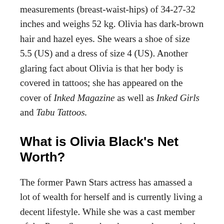measurements (breast-waist-hips) of 34-27-32 inches and weighs 52 kg. Olivia has dark-brown hair and hazel eyes. She wears a shoe of size 5.5 (US) and a dress of size 4 (US). Another glaring fact about Olivia is that her body is covered in tattoos; she has appeared on the cover of Inked Magazine as well as Inked Girls and Tabu Tattoos.
What is Olivia Black's Net Worth?
The former Pawn Stars actress has amassed a lot of wealth for herself and is currently living a decent lifestyle. While she was a cast member of the Pawn Stars, what she earned per episode was never disclosed to the media. Since other stars of the show such as Chumlee earns about $25 thousand per